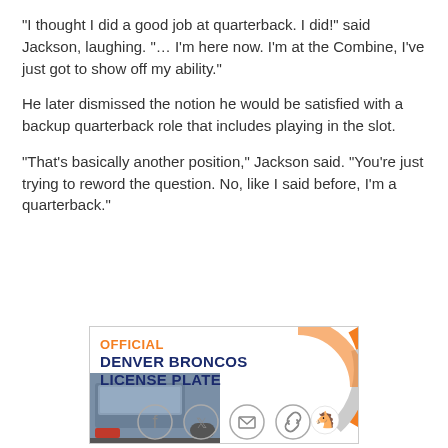"I thought I did a good job at quarterback. I did!" said Jackson, laughing. "... I'm here now. I'm at the Combine, I've just got to show off my ability."
He later dismissed the notion he would be satisfied with a backup quarterback role that includes playing in the slot.
"That's basically another position," Jackson said. "You're just trying to reword the question. No, like I said before, I'm a quarterback."
[Figure (infographic): Advertisement for Official Denver Broncos License Plate featuring orange and gray circular design elements and a truck tailgate photo]
[Figure (infographic): Social sharing icons: Facebook, Twitter, email, and link]